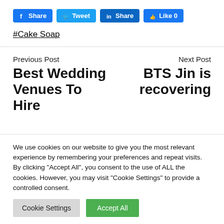[Figure (other): Social sharing buttons: Facebook Share, Twitter Tweet, LinkedIn Share, Like 0]
#Cake Soap
Previous Post
Best Wedding Venues To Hire
Next Post
BTS Jin is recovering
We use cookies on our website to give you the most relevant experience by remembering your preferences and repeat visits. By clicking "Accept All", you consent to the use of ALL the cookies. However, you may visit "Cookie Settings" to provide a controlled consent.
Cookie Settings   Accept All